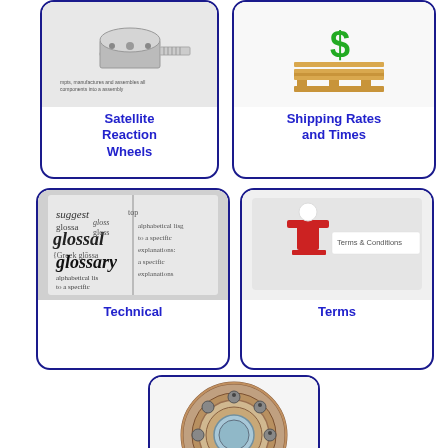[Figure (photo): Navigation card showing Satellite Reaction Wheels with a cylindrical mechanical component image and small descriptive text]
[Figure (photo): Navigation card showing Shipping Rates and Times with a wooden pallet and green dollar sign icon]
[Figure (photo): Navigation card showing Technical glossary with an open dictionary/glossary book image]
[Figure (photo): Navigation card showing Terms and Conditions with a red figure next to Terms & Conditions text]
[Figure (photo): Navigation card showing a bearing (ball bearing / angular contact bearing) product image at the bottom center]